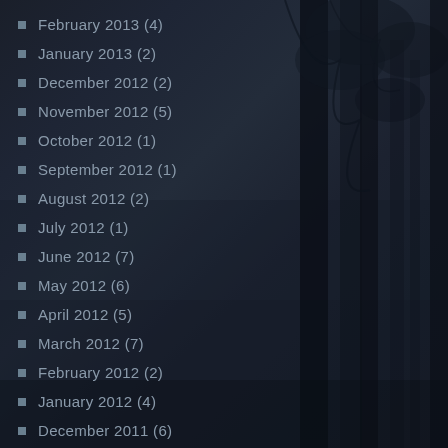February 2013 (4)
January 2013 (2)
December 2012 (2)
November 2012 (5)
October 2012 (1)
September 2012 (1)
August 2012 (2)
July 2012 (1)
June 2012 (7)
May 2012 (6)
April 2012 (5)
March 2012 (7)
February 2012 (2)
January 2012 (4)
December 2011 (6)